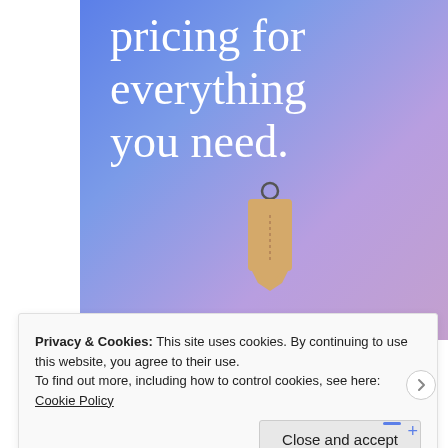[Figure (illustration): Blue-to-purple gradient background with large white serif text reading 'pricing for everything you need.' and a hanging price tag illustration in the center-bottom area. The top of the text is cut off, suggesting 'Simplified' or similar word above.]
Privacy & Cookies: This site uses cookies. By continuing to use this website, you agree to their use.
To find out more, including how to control cookies, see here: Cookie Policy
Close and accept